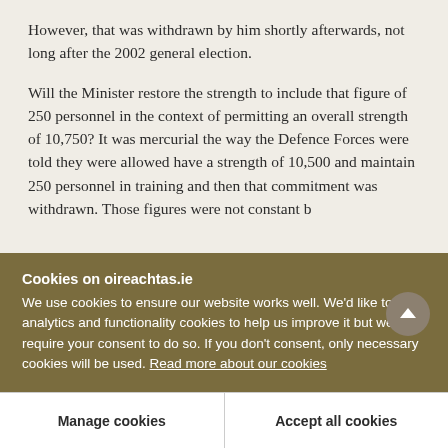However, that was withdrawn by him shortly afterwards, not long after the 2002 general election.
Will the Minister restore the strength to include that figure of 250 personnel in the context of permitting an overall strength of 10,750? It was mercurial the way the Defence Forces were told they were allowed have a strength of 10,500 and maintain 250 personnel in training and then that commitment was withdrawn. Those figures were not constant b...
Cookies on oireachtas.ie
We use cookies to ensure our website works well. We'd like to use analytics and functionality cookies to help us improve it but we require your consent to do so. If you don't consent, only necessary cookies will be used. Read more about our cookies
Manage cookies
Accept all cookies